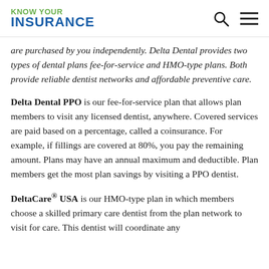KNOW YOUR INSURANCE
are purchased by you independently. Delta Dental provides two types of dental plans fee-for-service and HMO-type plans. Both provide reliable dentist networks and affordable preventive care.
Delta Dental PPO is our fee-for-service plan that allows plan members to visit any licensed dentist, anywhere. Covered services are paid based on a percentage, called a coinsurance. For example, if fillings are covered at 80%, you pay the remaining amount. Plans may have an annual maximum and deductible. Plan members get the most plan savings by visiting a PPO dentist.
DeltaCare® USA is our HMO-type plan in which members choose a skilled primary care dentist from the plan network to visit for care. This dentist will coordinate any